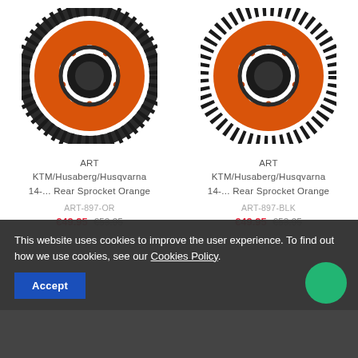[Figure (photo): Left product: ART orange and black rear sprocket for KTM/Husaberg/Husqvarna, circular gear with orange center plate and black teeth around the edge.]
ART
KTM/Husaberg/Husqvarna
14-... Rear Sprocket Orange
ART-897-OR
€49.95 €53.95
[Figure (photo): Right product: ART orange and black rear sprocket for KTM/Husaberg/Husqvarna, circular gear with orange center plate and black teeth around the edge.]
ART
KTM/Husaberg/Husqvarna
14-... Rear Sprocket Orange
ART-897-BLK
€49.95 €53.95
This website uses cookies to improve the user experience. To find out how we use cookies, see our Cookies Policy.
Accept